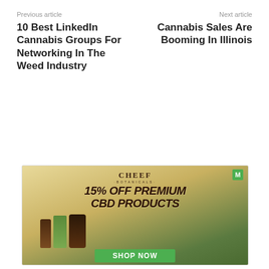Previous article
10 Best LinkedIn Cannabis Groups For Networking In The Weed Industry
Next article
Cannabis Sales Are Booming In Illinois
[Figure (illustration): Cheef Botanicals advertisement showing CBD products on a tree stump with green nature background. Headline: 15% OFF PREMIUM CBD PRODUCTS. Call to action: SHOP NOW. Green M badge in top right corner.]